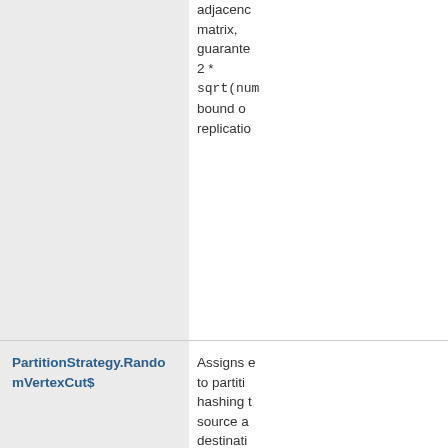| Name | Description |
| --- | --- |
|  | adjacency matrix, guarantee 2 * sqrt(num bound on replicatio |
| PartitionStrategy.RandomVertexCut$ | Assigns e to partiti hashing t source an destinati vertex ID resulting random v cut that colocates same-dir edges be two verti |
| Pregel | Impleme Pregel-li |